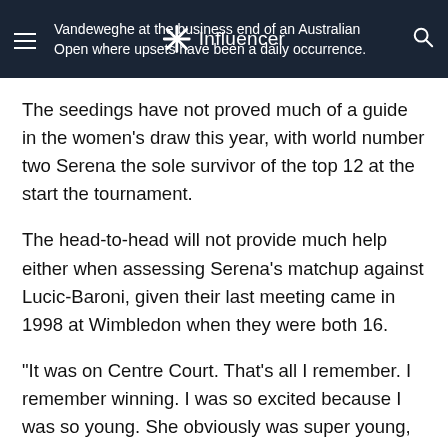Vandeweghe at the business end of an Australian Open where upsets have been a daily occurrence. [Influencer logo/nav bar]
The seedings have not proved much of a guide in the women's draw this year, with world number two Serena the sole survivor of the top 12 at the start the tournament.
The head-to-head will not provide much help either when assessing Serena's matchup against Lucic-Baroni, given their last meeting came in 1998 at Wimbledon when they were both 16.
“It was on Centre Court. That’s all I remember. I remember winning. I was so excited because I was so young. She obviously was super young, too. That’s all,” Serena said on Wednesday after beating Johanna Konta in the quarter-finals.